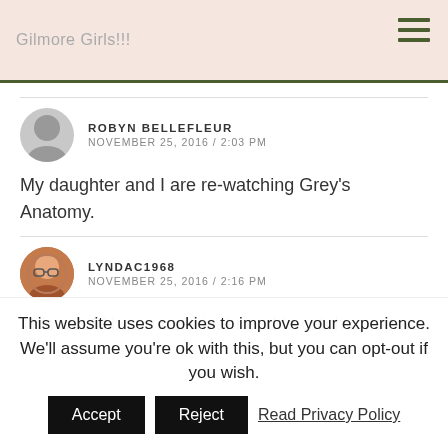Gilmore Girls!!!
ROBYN BELLEFLEUR
NOVEMBER 25, 2016 / 2:03 PM
My daughter and I are re-watching Grey's Anatomy.
LYNDAC1968
NOVEMBER 25, 2016 / 2:16 PM
This would be a nice win. I need to catch up on a few
This website uses cookies to improve your experience. We'll assume you're ok with this, but you can opt-out if you wish. Accept Reject Read Privacy Policy